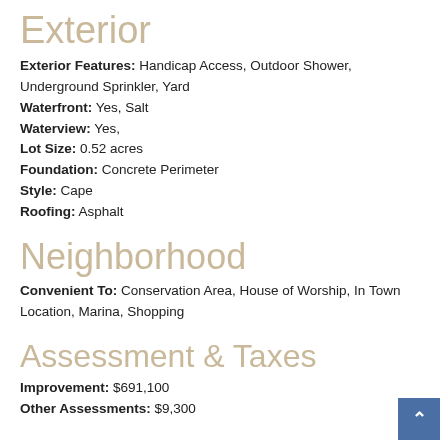Exterior
Exterior Features: Handicap Access, Outdoor Shower, Underground Sprinkler, Yard
Waterfront: Yes, Salt
Waterview: Yes,
Lot Size: 0.52 acres
Foundation: Concrete Perimeter
Style: Cape
Roofing: Asphalt
Neighborhood
Convenient To: Conservation Area, House of Worship, In Town Location, Marina, Shopping
Assessment & Taxes
Improvement: $691,100
Other Assessments: $9,300